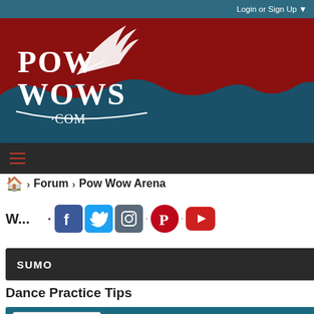Login or Sign Up ▼
[Figure (logo): PowWows.com logo with feather graphic on dark teal and red banner background]
≡ (hamburger/menu icon)
🏠 › Forum › Pow Wow Arena
W... (partial title text with social media icons: Facebook, Twitter, Instagram, Pinterest, YouTube)
SUMO
Dance Practice Tips
+ More Options ▾